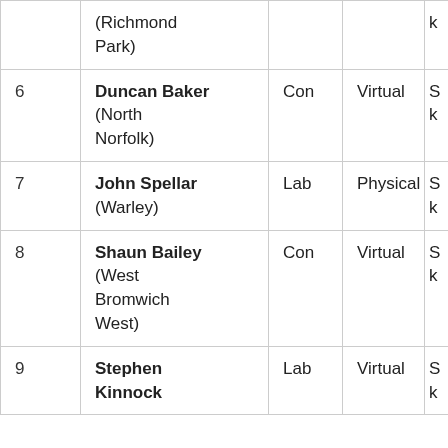| # | Name | Party | Attendance | ... |
| --- | --- | --- | --- | --- |
|  | (Richmond Park) |  |  | k |
| 6 | Duncan Baker (North Norfolk) | Con | Virtual | S k |
| 7 | John Spellar (Warley) | Lab | Physical | S k |
| 8 | Shaun Bailey (West Bromwich West) | Con | Virtual | S k |
| 9 | Stephen Kinnock | Lab | Virtual | S k |